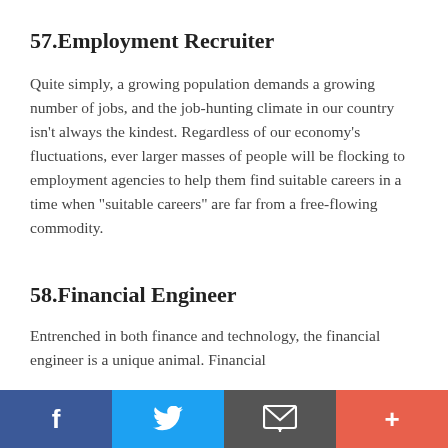57.Employment Recruiter
Quite simply, a growing population demands a growing number of jobs, and the job-hunting climate in our country isn’t always the kindest. Regardless of our economy’s fluctuations, ever larger masses of people will be flocking to employment agencies to help them find suitable careers in a time when “suitable careers” are far from a free-flowing commodity.
58.Financial Engineer
Entrenched in both finance and technology, the financial engineer is a unique animal. Financial
f  [twitter]  [email]  +